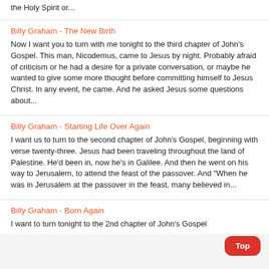the Holy Spirit or...
Billy Graham - The New Birth
Now I want you to turn with me tonight to the third chapter of John's Gospel. This man, Nicodemus, came to Jesus by night. Probably afraid of criticism or he had a desire for a private conversation, or maybe he wanted to give some more thought before committing himself to Jesus Christ. In any event, he came. And he asked Jesus some questions about...
Billy Graham - Starting Life Over Again
I want us to turn to the second chapter of John's Gospel, beginning with verse twenty-three. Jesus had been traveling throughout the land of Palestine. He'd been in, now he's in Galilee. And then he went on his way to Jerusalem, to attend the feast of the passover. And "When he was in Jerusalem at the passover in the feast, many believed in...
Billy Graham - Born Again
I want to turn tonight to the 2nd chapter of John's Gospel